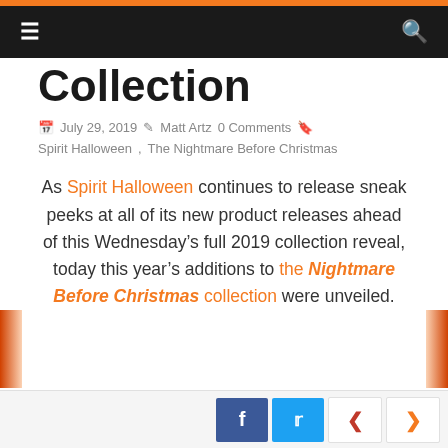≡   🔍
Collection
July 29, 2019  Matt Artz  0 Comments  Spirit Halloween, The Nightmare Before Christmas
As Spirit Halloween continues to release sneak peeks at all of its new product releases ahead of this Wednesday's full 2019 collection reveal, today this year's additions to the Nightmare Before Christmas collection were unveiled.